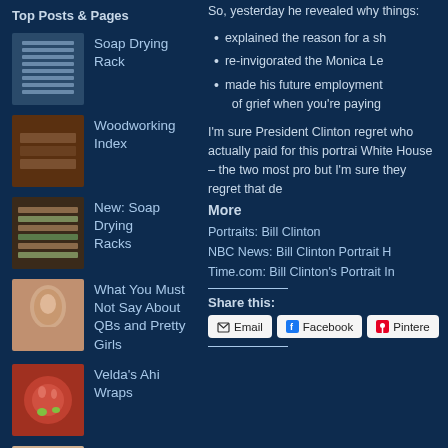Top Posts & Pages
Soap Drying Rack
Woodworking Index
New: Soap Drying Racks
What You Must Not Say About QBs and Pretty Girls
Velda's Ahi Wraps
1953: How To Marry A Millionaire
The Board Chronicles: Arroyo Grande
So, yesterday he revealed why things:
explained the reason for a sh
re-invigorated the Monica Le
made his future employment of grief when you're paying
I'm sure President Clinton regret who actually paid for this portrai White House – the two most pro but I'm sure they regret that de
More
Portraits: Bill Clinton
NBC News: Bill Clinton Portrait H
Time.com: Bill Clinton's Portrait In
Share this:
Email
Facebook
Pintere